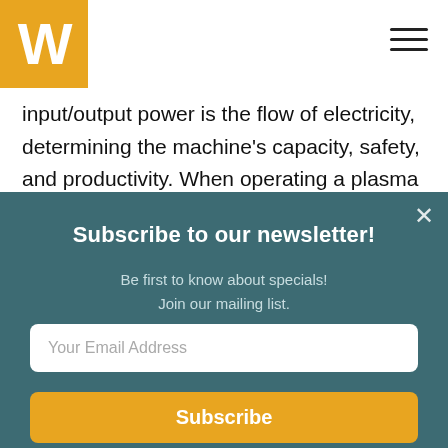[Figure (logo): Gold/yellow square logo with white W letter]
input/output power is the flow of electricity determining the machine's capacity, safety, and productivity. When operating a plasma cutter, remember that you can only use it on the input and output power provided. Otherwise, it will create
Subscribe to our newsletter!
Be first to know about specials!
Join our mailing list.
Your Email Address
Subscribe